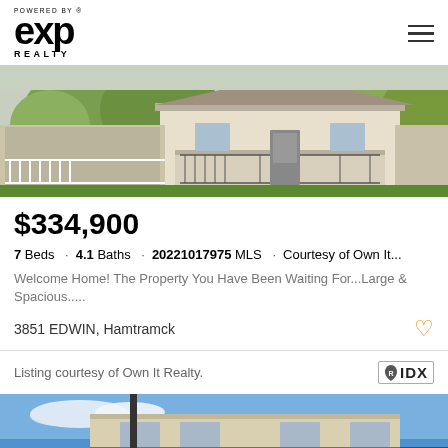[Figure (logo): eXp Realty logo with 'Powered by' text above and 'Realty' below]
[Figure (photo): Exterior photo of a house with a front porch, trees in foreground, and neighboring buildings]
$334,900
7 Beds · 4.1 Baths · 20221017975 MLS · Courtesy of Own It...
Welcome Home! The Property You Have Been Waiting For...Large & Spacious.....
3851 EDWIN, Hamtramck
Listing courtesy of Own It Realty.
[Figure (photo): Exterior photo of multi-story building with balcony railing and blue sky]